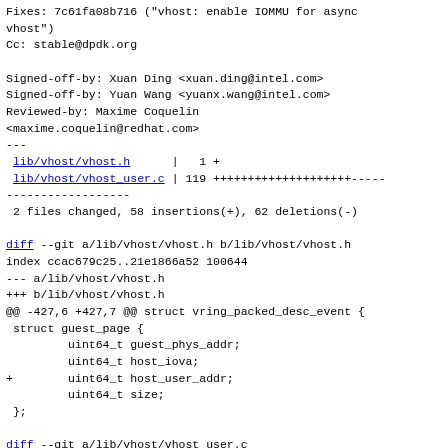Fixes: 7c61fa08b716 ("vhost: enable IOMMU for async vhost")
Cc: stable@dpdk.org

Signed-off-by: Xuan Ding <xuan.ding@intel.com>
Signed-off-by: Yuan Wang <yuanx.wang@intel.com>
Reviewed-by: Maxime Coquelin
<maxime.coquelin@redhat.com>
---
 lib/vhost/vhost.h      |   1 +
 lib/vhost/vhost_user.c | 119 ++++++++++++++++++++----- 
------------------
 2 files changed, 58 insertions(+), 62 deletions(-)

diff --git a/lib/vhost/vhost.h b/lib/vhost/vhost.h
index ccac679c25..21e1866a52 100644
--- a/lib/vhost/vhost.h
+++ b/lib/vhost/vhost.h
@@ -427,6 +427,7 @@ struct vring_packed_desc_event {
 struct guest_page {
         uint64_t guest_phys_addr;
         uint64_t host_iova;
+        uint64_t host_user_addr;
         uint64_t size;
 };

diff --git a/lib/vhost/vhost_user.c
b/lib/vhost/vhost_user.c
index 066adfb464..9d31d8840e 100644
--- a/lib/vhost/vhost_user.c
+++ b/lib/vhost/vhost_user.c
diff --git a/lib/vhost/vhost.h b/lib/vhost/vhost.h